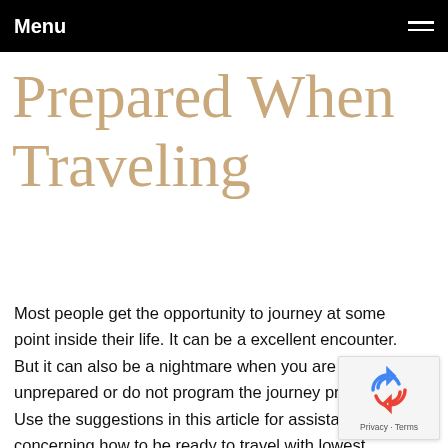Menu
Prepared When Traveling
Most people get the opportunity to journey at some point inside their life. It can be a excellent encounter. But it can also be a nightmare when you are unprepared or do not program the journey properly. Use the suggestions in this article for assistance concerning how to be ready to travel with lowest problems.